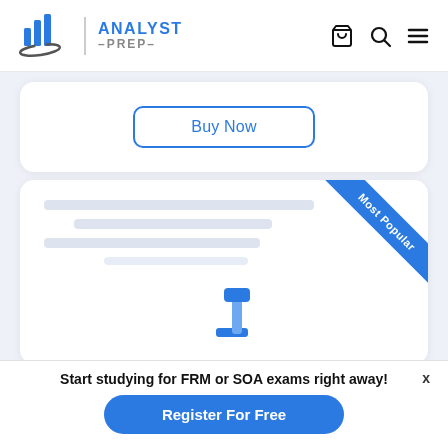[Figure (logo): Analyst Prep logo with blue bar chart icon and text 'ANALYST -PREP-']
[Figure (other): Navigation icons: shopping cart, search/magnifying glass, hamburger menu]
[Figure (other): White card with Buy Now button (blue outlined rounded rectangle)]
[Figure (other): White card with 'Most Popular' blue diagonal ribbon in top-right corner, placeholder content lines, and a blue tool/hammer illustration at the bottom]
Start studying for FRM or SOA exams right away!
[Figure (other): Register For Free blue rounded button]